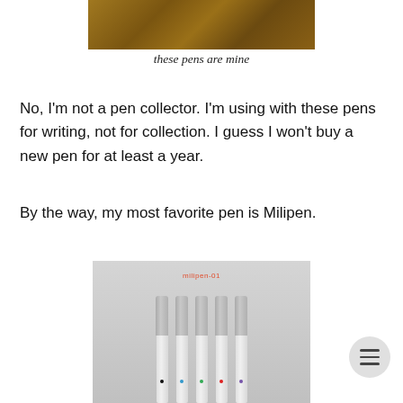[Figure (photo): Top portion of a photo showing pens on a wooden surface, cropped at top of page]
these pens are mine
No, I'm not a pen collector. I'm using with these pens for writing, not for collection. I guess I won't buy a new pen for at least a year.
By the way, my most favorite pen is Milipen.
[Figure (photo): Photo of five Milipen-01 pens in gray bodies with colored ink dots (black, blue, green, red, purple), arranged side by side on a light gray background with 'milipen-01' text at top]